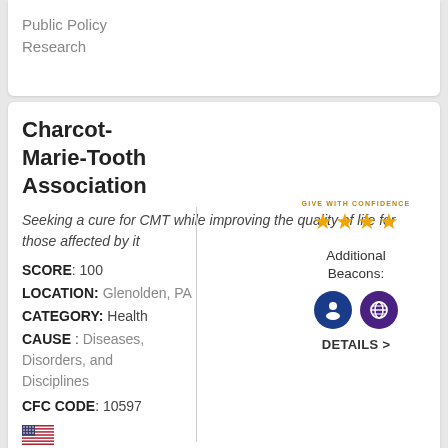Public Policy Research
Charcot-Marie-Tooth Association
Seeking a cure for CMT while improving the quality of life for those affected by it
SCORE: 100
LOCATION: Glenolden, PA
CATEGORY: Health
CAUSE : Diseases, Disorders, and Disciplines
CFC CODE: 10597
[Figure (infographic): Give With Confidence badge with 4 gold stars and two beacon icons (blue person/accountability icon and purple globe/transparency icon), with DETAILS > link]
Chicago